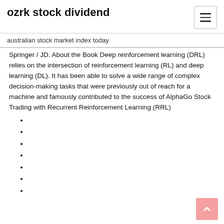ozrk stock dividend
australian stock market index today
Springer / JD. About the Book Deep reinforcement learning (DRL) relies on the intersection of reinforcement learning (RL) and deep learning (DL). It has been able to solve a wide range of complex decision-making tasks that were previously out of reach for a machine and famously contributed to the success of AlphaGo Stock Trading with Recurrent Reinforcement Learning (RRL)